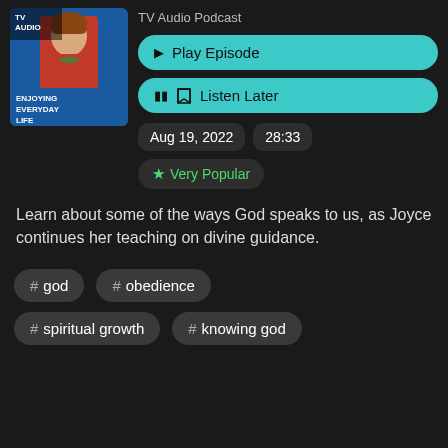[Figure (screenshot): Podcast thumbnail showing Joyce Meyer TV Audio Enjoying Everyday Life podcast artwork with a woman in red jacket]
TV Audio Podcast
▶ Play Episode
☐ Listen Later
Aug 19, 2022   28:33
★ Very Popular
Learn about some of the ways God speaks to us, as Joyce continues her teaching on divine guidance.
# god
# obedience
# spiritual growth
# knowing god